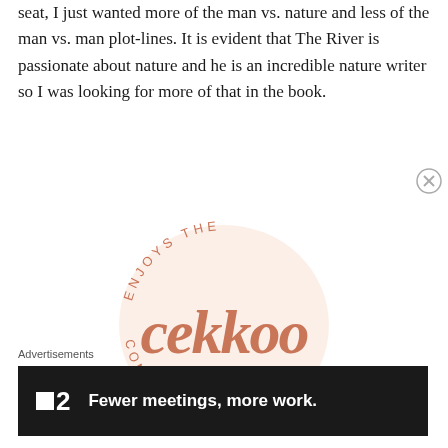seat, I just wanted more of the man vs. nature and less of the man vs. man plot-lines. It is evident that The River is passionate about nature and he is an incredible nature writer so I was looking for more of that in the book.
[Figure (logo): Circular logo with text 'ENJOYS THE' arcing across the top, stylized script 'cekkoo' in salmon/terracotta color in the center on a light peach circular background, and 'COMP...' and '...OOKS' text arcing across the bottom (partially cropped).]
Advertisements
[Figure (other): Dark advertisement banner for a product showing a small white square icon, the number 2, and the text 'Fewer meetings, more work.' in bold white on dark background.]